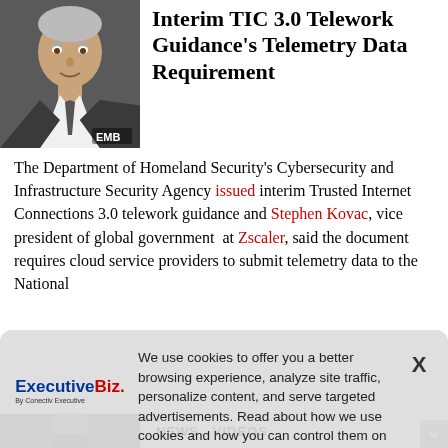[Figure (photo): Headshot of a man in a suit and tie, with an 'EMB' watermark in the lower right corner of the photo]
Interim TIC 3.0 Telework Guidance's Telemetry Data Requirement
The Department of Homeland Security's Cybersecurity and Infrastructure Security Agency issued interim Trusted Internet Connections 3.0 telework guidance and Stephen Kovac, vice president of global government at Zscaler, said the document requires cloud service providers to submit telemetry data to the National
We use cookies to offer you a better browsing experience, analyze site traffic, personalize content, and serve targeted advertisements. Read about how we use cookies and how you can control them on our Privacy Policy. If you continue to use this site, you consent to our use of cookies.
[Figure (logo): ExecutiveBiz logo — 'Executive' in bold blue, 'Biz.' in red, with tagline 'By Conectiv Executive']
NEWS  VIDEOS